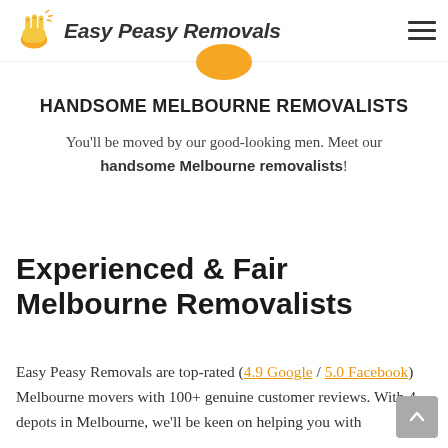Easy Peasy Removals
HANDSOME MELBOURNE REMOVALISTS
You'll be moved by our good-looking men. Meet our handsome Melbourne removalists!
Experienced & Fair Melbourne Removalists
Easy Peasy Removals are top-rated (4.9 Google / 5.0 Facebook) Melbourne movers with 100+ genuine customer reviews. With 4 depots in Melbourne, we'll be keen on helping you with